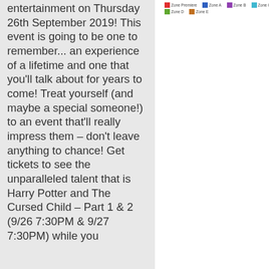entertainment on Thursday 26th September 2019! This event is going to be one to remember... an experience of a lifetime and one that you'll talk about for years to come! Treat yourself (and maybe a special someone!) to an event that'll really impress them – don't leave anything to chance! Get tickets to see the unparalleled talent that is Harry Potter and The Cursed Child – Part 1 & 2 (9/26 7:30PM & 9/27 7:30PM) while you
[Figure (other): A legend showing zone labels with colored swatches: Zone Premiere (red), Zone A (blue), Zone B (purple), Zone C (light blue), Zone D (green), Zone E (orange/brown)]